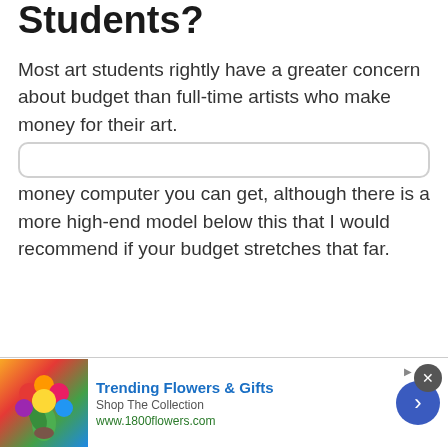Students?
Most art students rightly have a greater concern about budget than full-time artists who make money for their art.
The choice below is therefore the best value for money computer you can get, although there is a more high-end model below this that I would recommend if your budget stretches that far.
[Figure (other): Advertisement banner for 1800flowers.com showing flowers image, 'Trending Flowers & Gifts' text, 'Shop The Collection' subtext, URL www.1800flowers.com, close button, and arrow navigation button]